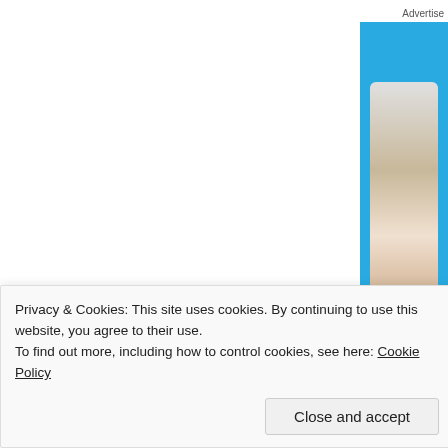Advertise
[Figure (screenshot): Blue advertisement banner partially visible on the right side of the page]
Share this:
[Figure (other): Close button (X) circle icon]
Privacy & Cookies: This site uses cookies. By continuing to use this website, you agree to their use.
To find out more, including how to control cookies, see here: Cookie Policy
Close and accept